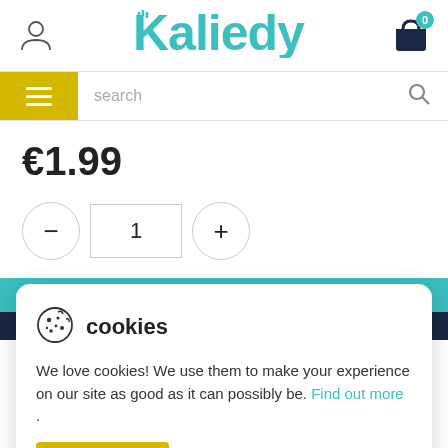[Figure (logo): Kaliedy teal logo with user icon on left and shopping basket icon with badge '0' on right]
[Figure (screenshot): Search bar with yellow hamburger menu button on left and search magnifier icon on right]
€1.99
[Figure (other): Quantity selector with minus button, input showing '1', and plus button]
add to basket
[Figure (other): Cookie consent popup with cookie icon, title 'cookies', description text, Find out more link, and accept button]